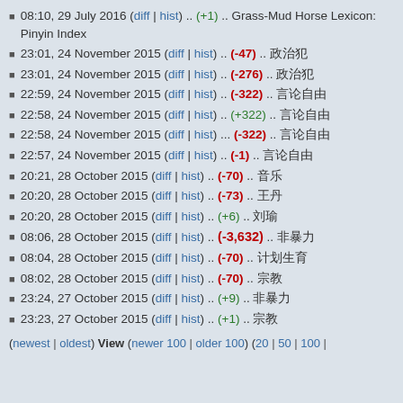08:10, 29 July 2016 (diff | hist) .. (+1) .. Grass-Mud Horse Lexicon: Pinyin Index
23:01, 24 November 2015 (diff | hist) .. (-47) .. 政治犯
23:01, 24 November 2015 (diff | hist) .. (-276) .. 政治犯
22:59, 24 November 2015 (diff | hist) .. (-322) .. 言论自由
22:58, 24 November 2015 (diff | hist) .. (+322) .. 言论自由
22:58, 24 November 2015 (diff | hist) ... (-322) .. 言论自由
22:57, 24 November 2015 (diff | hist) .. (-1) .. 言论自由
20:21, 28 October 2015 (diff | hist) .. (-70) .. 音乐
20:20, 28 October 2015 (diff | hist) .. (-73) .. 王丹
20:20, 28 October 2015 (diff | hist) .. (+6) .. 刘瑜
08:06, 28 October 2015 (diff | hist) .. (-3,632) .. 非暴力
08:04, 28 October 2015 (diff | hist) .. (-70) .. 计划生育
08:02, 28 October 2015 (diff | hist) .. (-70) .. 宗教
23:24, 27 October 2015 (diff | hist) .. (+9) .. 非暴力
23:23, 27 October 2015 (diff | hist) .. (+1) .. 宗教
(newest | oldest) View (newer 100 | older 100) (20 | 50 | 100 | 250 | 500)